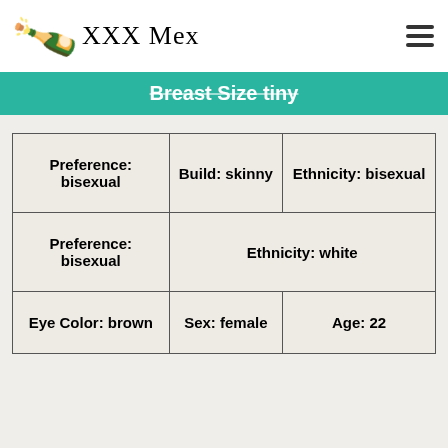XXX Mex
Breast Size tiny
| Preference: bisexual | Build: skinny | Ethnicity: bisexual |
| Preference: bisexual | Ethnicity: white |
| Eye Color: brown | Sex: female | Age: 22 |